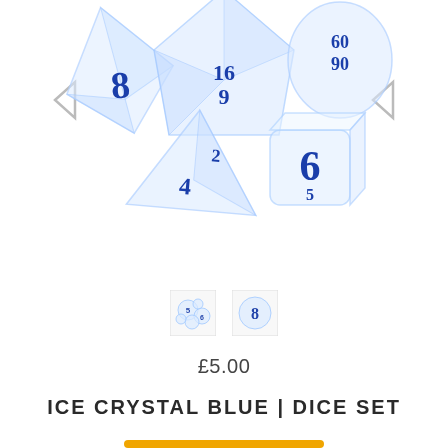[Figure (photo): A set of translucent ice crystal blue polyhedral dice with blue numerals, displayed on a white background. Includes d4, d6, d8, d10, d12 and d20 dice shapes arranged decoratively.]
[Figure (photo): Two small thumbnail images of the same ice crystal blue dice set from different angles.]
£5.00
ICE CRYSTAL BLUE | DICE SET